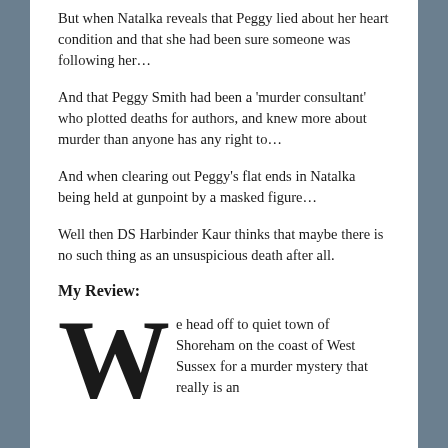But when Natalka reveals that Peggy lied about her heart condition and that she had been sure someone was following her…
And that Peggy Smith had been a 'murder consultant' who plotted deaths for authors, and knew more about murder than anyone has any right to…
And when clearing out Peggy's flat ends in Natalka being held at gunpoint by a masked figure…
Well then DS Harbinder Kaur thinks that maybe there is no such thing as an unsuspicious death after all.
My Review:
We head off to quiet town of Shoreham on the coast of West Sussex for a murder mystery that really is an